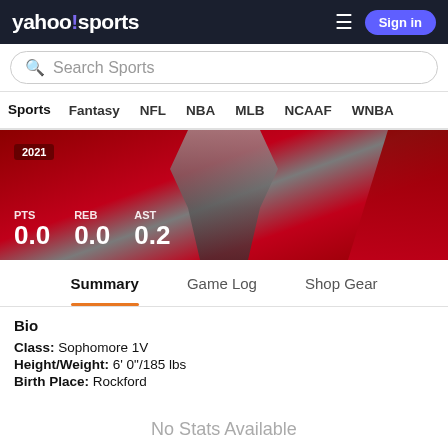yahoo!sports — Sign in
Search Sports
Sports  Fantasy  NFL  NBA  MLB  NCAAF  WNBA
[Figure (infographic): Player banner with red/grey gradient background showing 2021 stats: PTS 0.0, REB 0.0, AST 0.2]
Summary  Game Log  Shop Gear
Bio
Class: Sophomore 1V
Height/Weight: 6' 0"/185 lbs
Birth Place: Rockford
No Stats Available